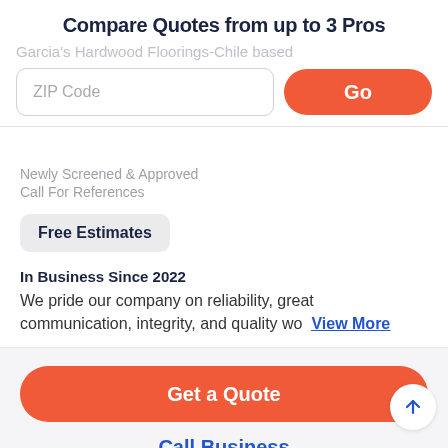Compare Quotes from up to 3 Pros
Garcia's Hardwood Floorings-Chile based
ZIP Code
Go
Newly Screened & Approved
Call For References
Free Estimates
In Business Since 2022
We pride our company on reliability, great communication, integrity, and quality wo View More
Get a Quote
Call Business